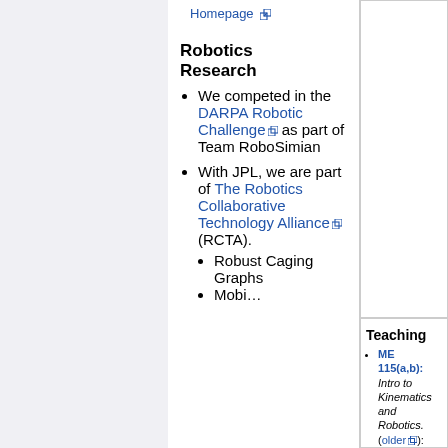Homepage [external link]
Robotics Research
We competed in the DARPA Robotic Challenge [external link] as part of Team RoboSimian
With JPL, we are part of The Robotics Collaborative Technology Alliance [external link] (RCTA).
Robust Caging Graphs
Teaching
ME 115(a,b): Intro to Kinematics and Robotics. (older [external link]):